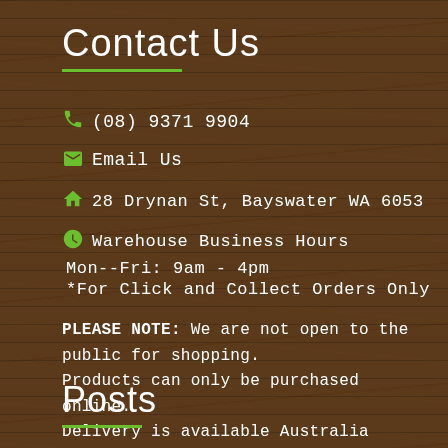Contact Us
📞 (08) 9371 9904
✉ Email Us
🏠 28 Drynan St, Bayswater WA 6053
🕐 Warehouse Business Hours
Mon--Fri: 9am - 4pm
*For Click and Collect Orders Only
PLEASE NOTE: We are not open to the public for shopping.
Products can only be purchased online.
Delivery is available Australia wide or CLICK & COLLECT option is available to Perth residents.
Posts